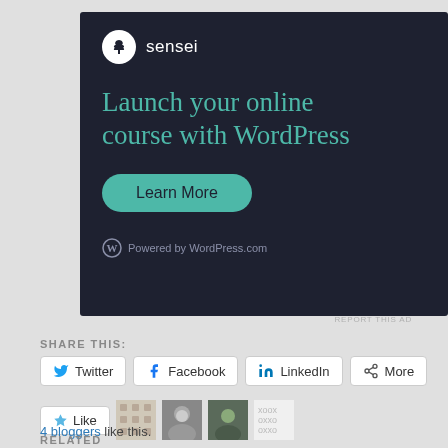[Figure (infographic): Sensei advertisement banner on dark background: sensei logo with tree icon, headline 'Launch your online course with WordPress', green 'Learn More' button, 'Powered by WordPress.com' footer.]
REPORT THIS AD
SHARE THIS:
Twitter  Facebook  LinkedIn  More
Like
4 bloggers like this.
RELATED